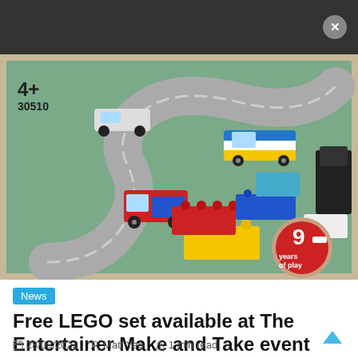[Figure (photo): LEGO set box image showing LEGO 30510 set for age 4+, featuring toy vehicles on a road mat with colorful LEGO bricks and a '90 years of play' logo badge]
News
Free LEGO set available at The Entertainer Make and Take event
28/08/2022  Matt Yeo  1 min read